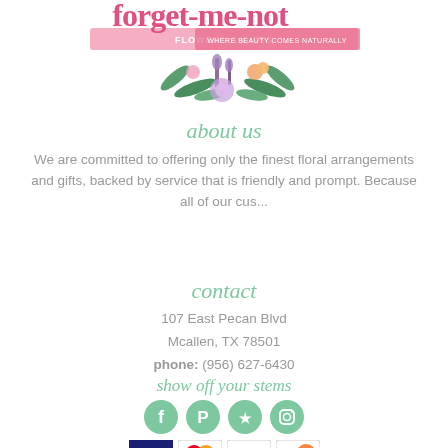[Figure (logo): Forget-Me-Not Flowers & Gifts logo with floral arrangement illustration and text 'WHERE BEAUTY COMES NATURALLY']
about us
We are committed to offering only the finest floral arrangements and gifts, backed by service that is friendly and prompt. Because all of our cus...
contact
107 East Pecan Blvd
Mcallen, TX 78501
phone: (956) 627-6430
show off your stems
[Figure (illustration): Social media icons: Facebook, Pinterest, Yelp, Instagram — circular green buttons]
[Figure (illustration): Payment method icons: Visa, MasterCard, American Express, Discover]